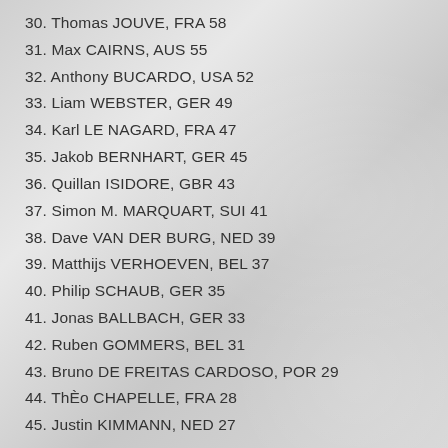30. Thomas JOUVE, FRA 58
31. Max CAIRNS, AUS 55
32. Anthony BUCARDO, USA 52
33. Liam WEBSTER, GER 49
34. Karl LE NAGARD, FRA 47
35. Jakob BERNHART, GER 45
36. Quillan ISIDORE, GBR 43
37. Simon M. MARQUART, SUI 41
38. Dave VAN DER BURG, NED 39
39. Matthijs VERHOEVEN, BEL 37
40. Philip SCHAUB, GER 35
41. Jonas BALLBACH, GER 33
42. Ruben GOMMERS, BEL 31
43. Bruno DE FREITAS CARDOSO, POR 29
44. ThÈo CHAPELLE, FRA 28
45. Justin KIMMANN, NED 27